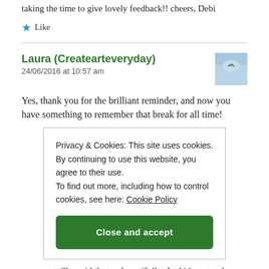taking the time to give lovely feedback!! cheers, Debi
★ Like
Laura (Createarteveryday)
24/06/2016 at 10:57 am
[Figure (photo): Avatar photo of a bird in flight against a blue sky]
Yes, thank you for the brilliant reminder, and now you have something to remember that break for all time!
Privacy & Cookies: This site uses cookies. By continuing to use this website, you agree to their use.
To find out more, including how to control cookies, see here: Cookie Policy
Close and accept
comment. She said that so beautifully. And it's so true!